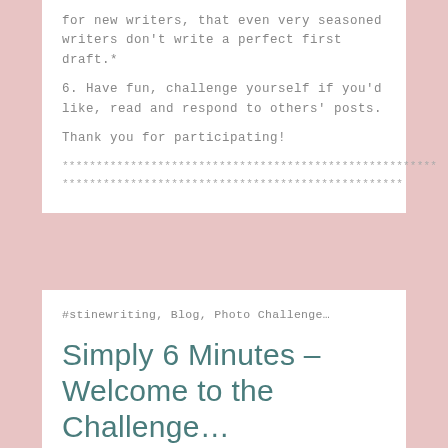for new writers, that even very seasoned writers don't write a perfect first draft.*
6. Have fun, challenge yourself if you'd like, read and respond to others' posts.
Thank you for participating!
******************************************************* **************************************************
#stinewriting, Blog, Photo Challenge…
Simply 6 Minutes – Welcome to the Challenge…